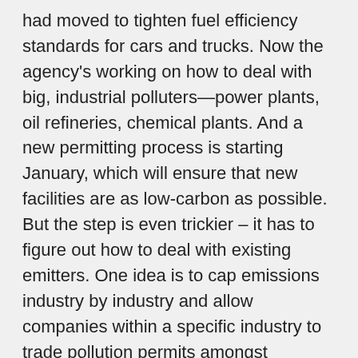had moved to tighten fuel efficiency standards for cars and trucks. Now the agency's working on how to deal with big, industrial polluters—power plants, oil refineries, chemical plants. And a new permitting process is starting January, which will ensure that new facilities are as low-carbon as possible. But the step is even trickier – it has to figure out how to deal with existing emitters. One idea is to cap emissions industry by industry and allow companies within a specific industry to trade pollution permits amongst themselves.
CURWOOD: So if you run a cement plant and so do I, but I do a better job at cleaning up more quickly than you, then I could sell you my extra allowances. That would be cap-and-trade.
TAJ: It is cap-and-trade, but a little more limited. You